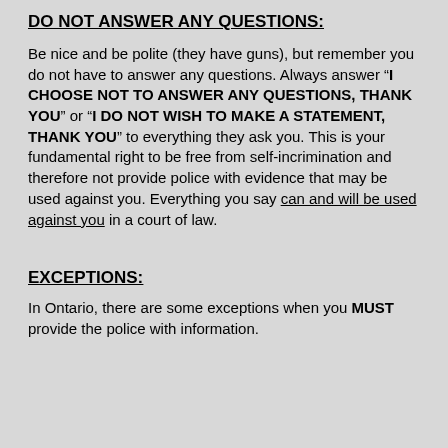DO NOT ANSWER ANY QUESTIONS:
Be nice and be polite (they have guns), but remember you do not have to answer any questions. Always answer “I CHOOSE NOT TO ANSWER ANY QUESTIONS, THANK YOU” or “I DO NOT WISH TO MAKE A STATEMENT, THANK YOU” to everything they ask you. This is your fundamental right to be free from self-incrimination and therefore not provide police with evidence that may be used against you. Everything you say can and will be used against you in a court of law.
EXCEPTIONS:
In Ontario, there are some exceptions when you MUST provide the police with information.